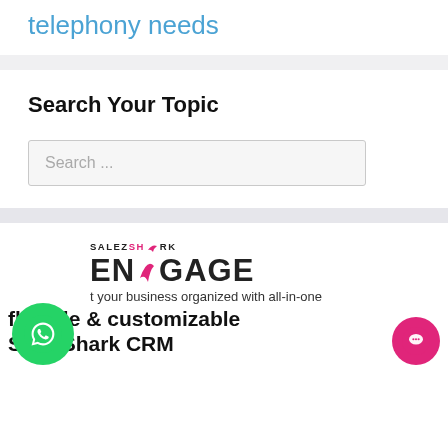telephony needs
Search Your Topic
Search ...
[Figure (logo): SalezShark ENGAGE logo with pink shark icon and text]
t your business organized with all-in-one
flexible & customizable SalezShark CRM